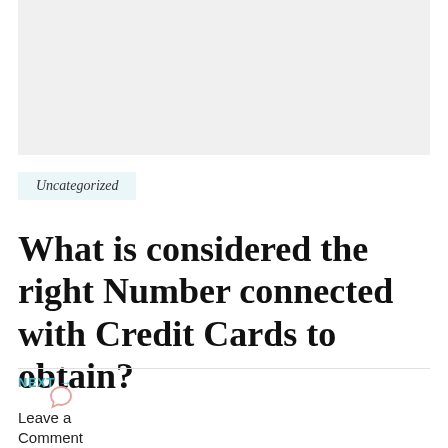[Figure (other): Gray placeholder image box at the top of the page]
Uncategorized
What is considered the right Number connected with Credit Cards to obtain?
NEXT →
[Figure (other): Comment speech bubble icon]
Leave a Comment